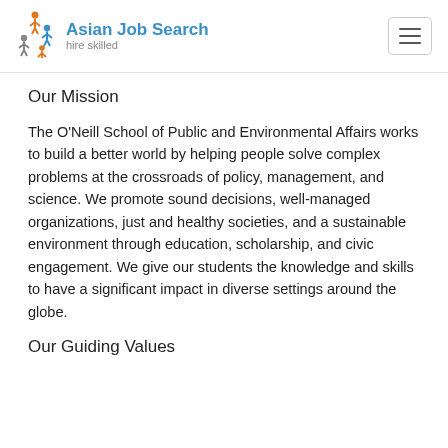Asian Job Search — hire skilled
Our Mission
The O'Neill School of Public and Environmental Affairs works to build a better world by helping people solve complex problems at the crossroads of policy, management, and science. We promote sound decisions, well-managed organizations, just and healthy societies, and a sustainable environment through education, scholarship, and civic engagement. We give our students the knowledge and skills to have a significant impact in diverse settings around the globe.
Our Guiding Values